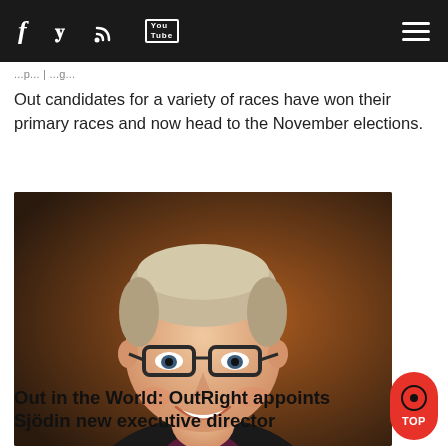f  𝐢  RSS  YouTube  ☰
Out candidates for a variety of races have won their primary races and now head to the November elections.
[Figure (photo): Portrait photo of a person with short hair wearing glasses and a dark jacket with a purple shirt, smiling at the camera against a dark brown background.]
Out in the World: OutRight appoints Sjödin new executive director